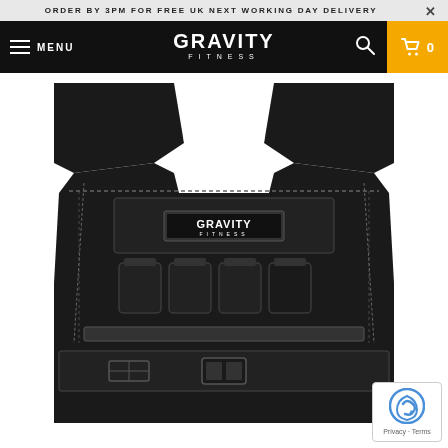ORDER BY 3PM FOR FREE UK NEXT WORKING DAY DELIVERY
[Figure (logo): Gravity Fitness logo in white text on black navigation bar with hamburger menu, search icon, and yellow cart button showing 0 items]
[Figure (photo): Black Gravity Fitness weighted vest shown from the front, featuring weight pockets with loaded weights visible, a chest strap with buckle, and reflective stitching. The Gravity Fitness logo patch is on the chest.]
Privacy · Terms